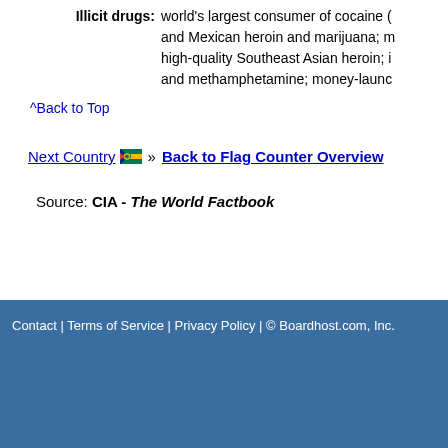Illicit drugs: world's largest consumer of cocaine and Mexican heroin and marijuana; high-quality Southeast Asian heroin; and methamphetamine; money-launc
^Back to Top
Next Country » Back to Flag Counter Overview
Source: CIA - The World Factbook
Contact | Terms of Service | Privacy Policy | © Boardhost.com, Inc. Th